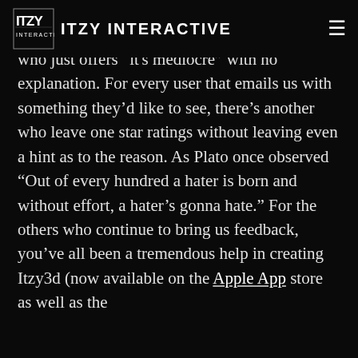ITZY INTERACTIVE
useful than others. For every well thought out piece of feedback we received there's the guy who just offers “it's mediocre” with no explanation. For every user that emails us with something they’d like to see, there's another who leave one star ratings without leaving even a hint as to the reason. As Plato once observed “Out of every hundred a hater is born and without effort, a hater’s gonna hate.” For the others who continue to bring us feedback, you’ve all been a tremendous help in creating Itzy3d (now available on the Apple App store as well as the